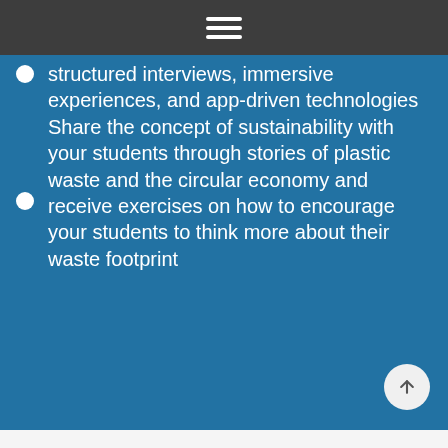Navigation menu
structured interviews, immersive experiences, and app-driven technologies
Share the concept of sustainability with your students through stories of plastic waste and the circular economy and receive exercises on how to encourage your students to think more about their waste footprint